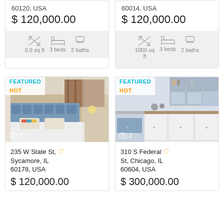60120, USA
$ 120,000.00
0.8 sq ft  3 beds  2 baths
60014, USA
$ 120,000.00
1000 sq ft  3 beds  2 baths
[Figure (photo): Bedroom interior with blue tufted headboard, white bedding with colorful pillows, white curtains. Badges: FEATURED, HOT. Photo count: 2.]
235 W State St, Sycamore, IL 60178, USA
$ 120,000.00
[Figure (photo): Kitchen/living area interior with white cabinetry and shelving with blue accents. Badges: FEATURED, HOT. Photo count: 2.]
310 S Federal St, Chicago, IL 60604, USA
$ 300,000.00